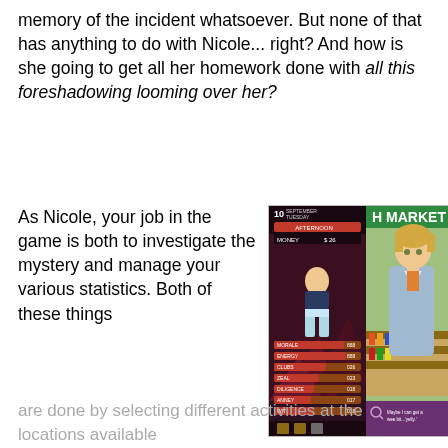memory of the incident whatsoever. But none of that has anything to do with Nicole... right? And how is she going to get all her homework done with all this foreshadowing looming over her?
As Nicole, your job in the game is both to investigate the mystery and manage your various statistics. Both of these things are done by selecting different activities at the locations available
[Figure (screenshot): Two-panel game screenshot: left panel shows a character management screen with a chibi-style blonde girl character, stats bars (MORALE, ENERGY, CLUBS, ZEAL, DILIGENCE, ANNEY, WIT), date showing September 10 Tuesday, AFTERNOON time, MONEY $26. Right panel shows a visual novel scene with an anime-style male character with blonde hair in a blue shirt standing in front of an 'H MARKET' store. Dialogue at bottom reads: 'Maybe I can get a wee bit...'yelly.']